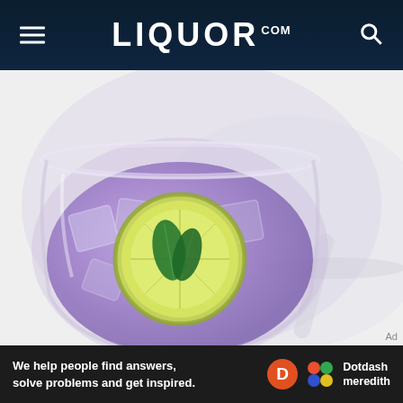LIQUOR.COM
[Figure (photo): Overhead view of a crystal cocktail glass filled with purple/lavender liquid, ice cubes, a lime wheel garnish, and fresh mint leaves, on a white background with another glass partially visible]
Ad
[Figure (infographic): Dark advertisement banner: 'We help people find answers, solve problems and get inspired.' with Dotdash Meredith logo (orange D circle and colorful dots icon)]